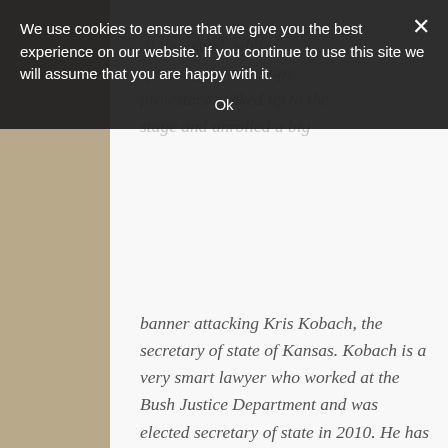At the panel, while speaking, two Occupy protesters walked up to the stage and unrolled a big banner attacking Kris Kobach, the secretary of state of Kansas. Kobach is a very smart lawyer who worked at the Bush Justice Department and was elected secretary of state in 2010. He has raised the ire of liberals because of his support for common-sense election reforms like voter-ID and proof-of-citizenship
We use cookies to ensure that we give you the best experience on our website. If you continue to use this site we will assume that you are happy with it. Ok ×